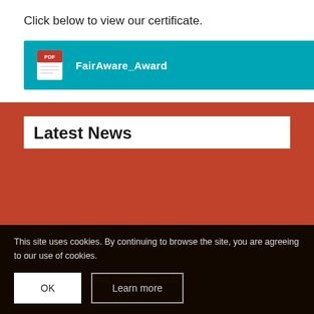Click below to view our certificate.
[Figure (other): Teal bar with PDF icon and label 'FairAware_Award']
Latest News
This site uses cookies. By continuing to browse the site, you are agreeing to our use of cookies.
March A... | April 4, 2...
Jan & Feb Newsletter 2022